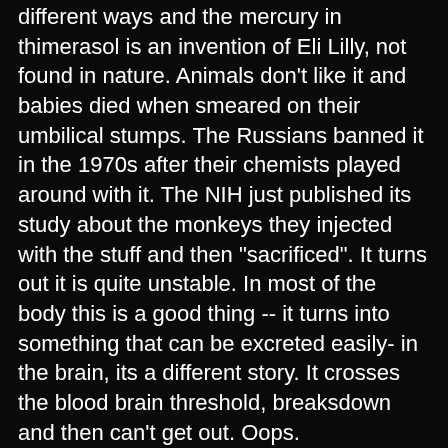different ways and the mercury in thimerasol is an invention of Eli Lilly, not found in nature. Animals don't like it and babies died when smeared on their umbilical stumps. The Russians banned it in the 1970s after their chemists played around with it. The NIH just published its study about the monkeys they injected with the stuff and then "sacrificed". It turns out it is quite unstable. In most of the body this is a good thing -- it turns into something that can be excreted easily- in the brain, its a different story. It crosses the blood brain threshold, breaksdown and then can't get out. Oops.
Does it cause autism?
I don't know. Many of the autistic kids appear to have immune system issues (the autopsied ones brains show signs of infection, the immune responses of the live ones are odd). Metals elicit an immune system response-- in fact aluminum is included in vaccines for that reason. Could the mercury and/or aluminum